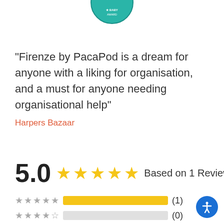[Figure (logo): Circular teal baby award badge, partially visible at top center]
"Firenze by PacaPod is a dream for anyone with a liking for organisation, and a must for anyone needing organisational help"
Harpers Bazaar
5.0 ★★★★★ Based on 1 Reviews
★★★★★ (1)
★★★★☆ (0)